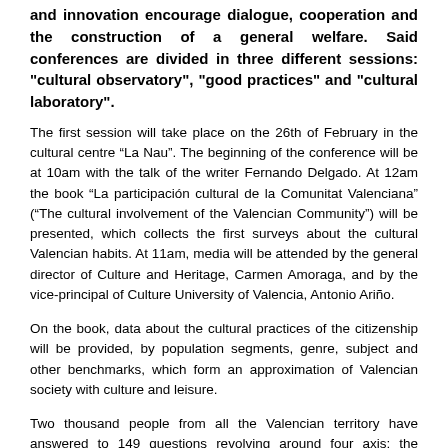and innovation encourage dialogue, cooperation and the construction of a general welfare. Said conferences are divided in three different sessions: "cultural observatory", "good practices" and "cultural laboratory".
The first session will take place on the 26th of February in the cultural centre “La Nau”. The beginning of the conference will be at 10am with the talk of the writer Fernando Delgado. At 12am the book “La participación cultural de la Comunitat Valenciana” (“The cultural involvement of the Valencian Community”) will be presented, which collects the first surveys about the cultural Valencian habits. At 11am, media will be attended by the general director of Culture and Heritage, Carmen Amoraga, and by the vice-principal of Culture University of Valencia, Antonio Ariño.
On the book, data about the cultural practices of the citizenship will be provided, by population segments, genre, subject and other benchmarks, which form an approximation of Valencian society with culture and leisure.
Two thousand people from all the Valencian territory have answered to 149 questions revolving around four axis: the common or native notion of culture: what is understood by “culture”?; the perspective of genre to write the blank book of women and culture; the language in which culture is consumed and the participation in cultural activities.